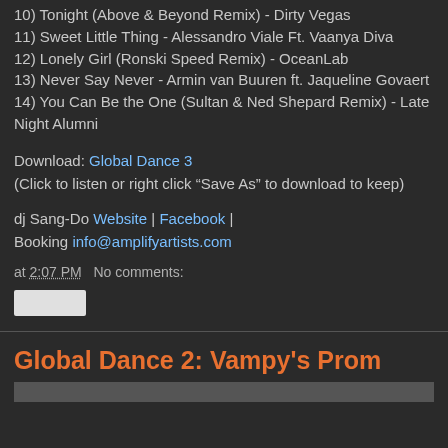10) Tonight (Above & Beyond Remix) - Dirty Vegas
11) Sweet Little Thing - Alessandro Viale Ft. Vaanya Diva
12) Lonely Girl (Ronski Speed Remix) - OceanLab
13) Never Say Never - Armin van Buuren ft. Jaqueline Govaert
14) You Can Be the One (Sultan & Ned Shepard Remix) - Late Night Alumni
Download: Global Dance 3
(Click to listen or right click “Save As” to download to keep)
dj Sang-Do Website | Facebook | Booking info@amplifyartists.com
at 2:07 PM   No comments:
Global Dance 2: Vampy's Prom